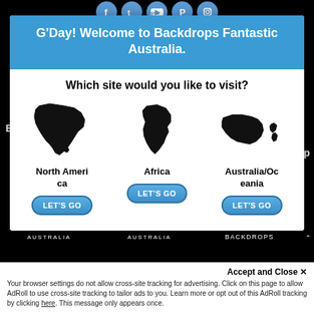[Figure (screenshot): Social media icons row (Facebook, Twitter, YouTube, Pinterest, Instagram) as circular blue icons]
Home    View Our Backdrops
E    ap
G'Day! Welcome to Backdrops Fantastic Australia.
Which site would you like to visit?
[Figure (illustration): Three continent silhouettes: North America map, Africa map, Australia/Oceania map, each with a LET'S GO button below]
North America    Africa    Australia/Oceania
Accept and Close ✕
Your browser settings do not allow cross-site tracking for advertising. Click on this page to allow AdRoll to use cross-site tracking to tailor ads to you. Learn more or opt out of this AdRoll tracking by clicking here. This message only appears once.